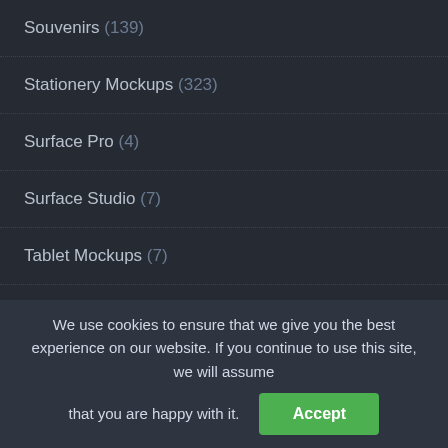Souvenirs (139)
Stationery Mockups (323)
Surface Pro (4)
Surface Studio (7)
Tablet Mockups (7)
Tag Mockups (33)
TV Mockups (6)
We use cookies to ensure that we give you the best experience on our website. If you continue to use this site, we will assume that you are happy with it. Accept